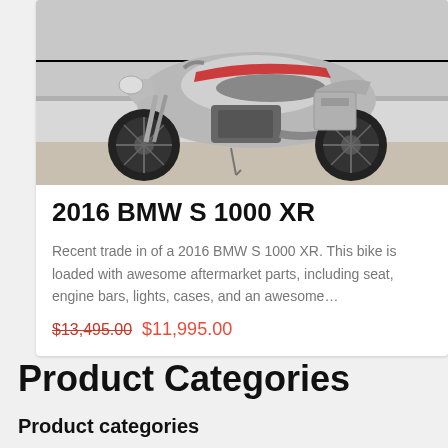[Figure (photo): Photo of a 2016 BMW S 1000 XR motorcycle parked outdoors, silver/white color with red accents, side panniers attached, on a center stand, concrete surface background]
2016 BMW S 1000 XR
Recent trade in of a 2016 BMW S 1000 XR. This bike is loaded with awesome aftermarket parts, including seat, engine bars, lights, cases, and an awesome…
$13,495.00  $11,995.00
Product Categories
Product categories